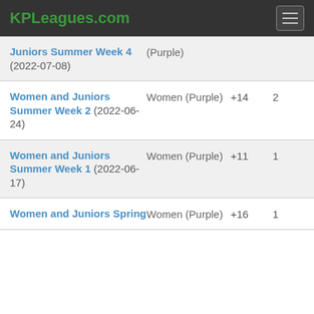KPLeagues.com
| Event | Category | Diff | # |
| --- | --- | --- | --- |
| Juniors Summer Week 4 (2022-07-08) | (Purple) |  |  |
| Women and Juniors Summer Week 2 (2022-06-24) | Women (Purple) | +14 | 2 |
| Women and Juniors Summer Week 1 (2022-06-17) | Women (Purple) | +11 | 1 |
| Women and Juniors Spring | Women (Purple) | +16 | 1 |